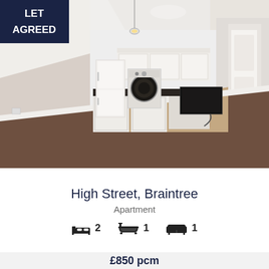[Figure (photo): Interior photo of an apartment showing an open-plan living area with brown carpet, white walls, sloped ceiling, kitchen area with white cabinets, fridge, washing machine, and a black electric panel heater on the wall.]
High Street, Braintree
Apartment
[Figure (infographic): Property amenity icons: bed icon with 2, bath icon with 1, sofa icon with 1]
£850 pcm